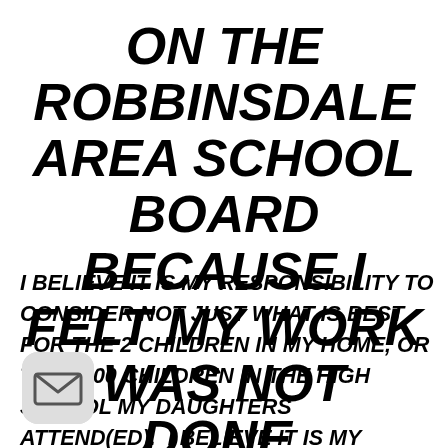ON THE ROBBINSDALE AREA SCHOOL BOARD BECAUSE I FELT MY WORK WAS NOT DONE.
I BELIEVE IT IS MY RESPONSIBILITY TO CONSIDER NOT JUST WHAT IS BEST FOR THE 2 CHILDREN IN MY HOME, OR THE 2000 CHILDREN IN THE HIGH SCHOOL MY DAUGHTERS ATTEND(ED). I BELIEVE IT IS MY RESPONSIBILITY TO CONSIDER THE
[Figure (illustration): Email envelope icon inside a rounded rectangle button, grey background]